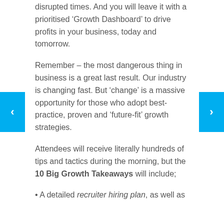disrupted times. And you will leave it with a prioritised ‘Growth Dashboard’ to drive profits in your business, today and tomorrow.
Remember – the most dangerous thing in business is a great last result. Our industry is changing fast. But ‘change’ is a massive opportunity for those who adopt best-practice, proven and ‘future-fit’ growth strategies.
Attendees will receive literally hundreds of tips and tactics during the morning, but the 10 Big Growth Takeaways will include;
• A detailed recruiter hiring plan, as well as